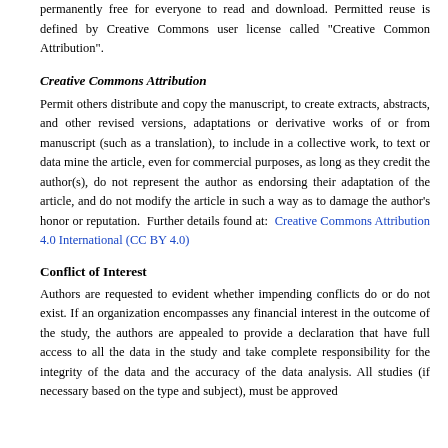permanently free for everyone to read and download. Permitted reuse is defined by Creative Commons user license called "Creative Common Attribution".
Creative Commons Attribution
Permit others distribute and copy the manuscript, to create extracts, abstracts, and other revised versions, adaptations or derivative works of or from manuscript (such as a translation), to include in a collective work, to text or data mine the article, even for commercial purposes, as long as they credit the author(s), do not represent the author as endorsing their adaptation of the article, and do not modify the article in such a way as to damage the author's honor or reputation.  Further details found at: Creative Commons Attribution 4.0 International (CC BY 4.0)
Conflict of Interest
Authors are requested to evident whether impending conflicts do or do not exist. If an organization encompasses any financial interest in the outcome of the study, the authors are appealed to provide a declaration that have full access to all the data in the study and take complete responsibility for the integrity of the data and the accuracy of the data analysis. All studies (if necessary based on the type and subject), must be approved